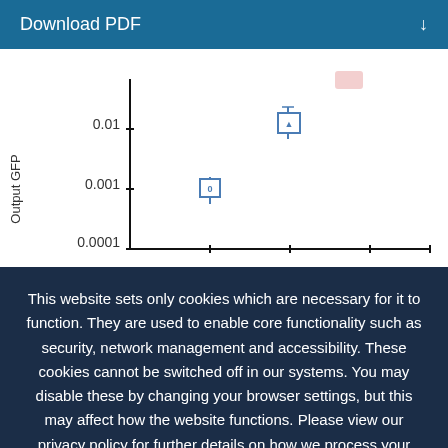Download PDF
[Figure (continuous-plot): Partial scatter/dot plot showing Output GFP on the y-axis (log scale: 0.0001, 0.001, 0.01) with two data points visible — one blue boxed point near 0.001 and one near 0.01.]
This website sets only cookies which are necessary for it to function. They are used to enable core functionality such as security, network management and accessibility. These cookies cannot be switched off in our systems. You may disable these by changing your browser settings, but this may affect how the website functions. Please view our privacy policy for further details on how we process your information. Dismiss